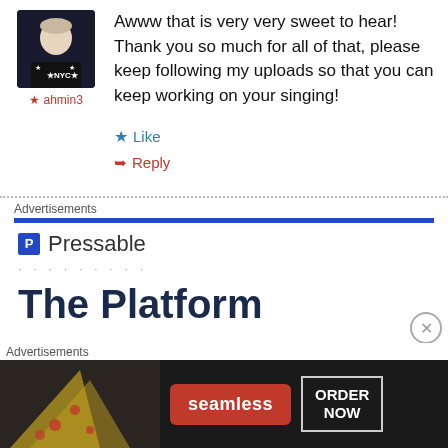[Figure (photo): User avatar photo of person wearing dark NYC sweatshirt]
★ ahmin3
Awww that is very very sweet to hear! Thank you so much for all of that, please keep following my uploads so that you can keep working on your singing!
★ Like
➥ Reply
Advertisements
[Figure (logo): Pressable logo with blue bar and P icon]
The Platform
Advertisements
[Figure (photo): Seamless food delivery advertisement banner with pizza image, seamless red button and ORDER NOW button]